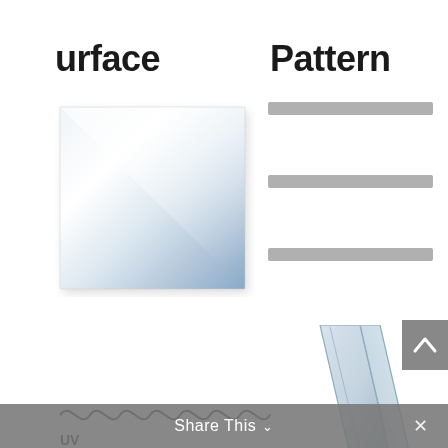urface
Pattern
[Figure (illustration): A reflective glass or metal square panel shown in perspective with a diagonal light gradient from top-left (white) to bottom-right (gray-blue), giving a mirror-like appearance.]
[Figure (schematic): Three horizontal gray lines representing a pattern or line pattern selector UI element.]
[Figure (engineering-diagram): A glass panel or prism shown in 3D perspective, transparent blue-gray, with a triangular cross-section visible.]
[Figure (schematic): A wavy line diagram at bottom left, partially visible, suggesting UV or wave pattern with text UV partially visible.]
Share This ∨ ×